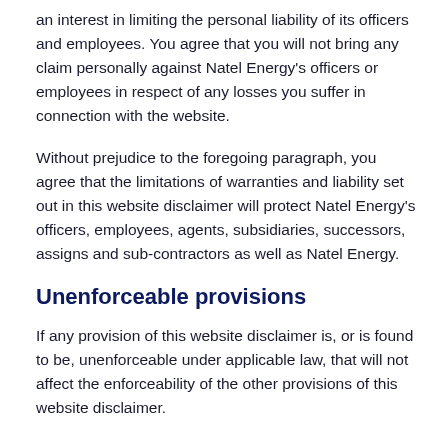an interest in limiting the personal liability of its officers and employees. You agree that you will not bring any claim personally against Natel Energy's officers or employees in respect of any losses you suffer in connection with the website.
Without prejudice to the foregoing paragraph, you agree that the limitations of warranties and liability set out in this website disclaimer will protect Natel Energy's officers, employees, agents, subsidiaries, successors, assigns and sub-contractors as well as Natel Energy.
Unenforceable provisions
If any provision of this website disclaimer is, or is found to be, unenforceable under applicable law, that will not affect the enforceability of the other provisions of this website disclaimer.